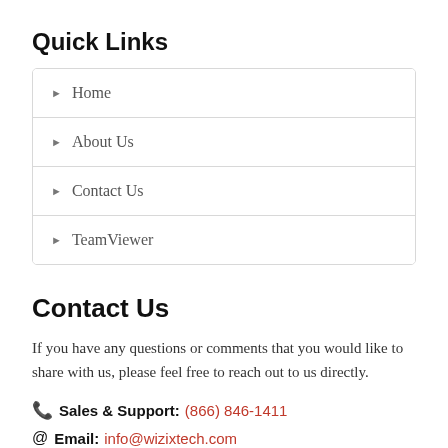Quick Links
Home
About Us
Contact Us
TeamViewer
Contact Us
If you have any questions or comments that you would like to share with us, please feel free to reach out to us directly.
Sales & Support: (866) 846-1411
Email: info@wizixtech.com